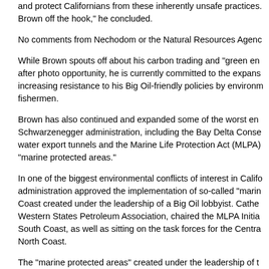and protect Californians from these inherently unsafe practices. Brown off the hook," he concluded.
No comments from Nechodom or the Natural Resources Agenc
While Brown spouts off about his carbon trading and "green en after photo opportunity, he is currently committed to the expans increasing resistance to his Big Oil-friendly policies by environm fishermen.
Brown has also continued and expanded some of the worst en Schwarzenegger administration, including the Bay Delta Conse water export tunnels and the Marine Life Protection Act (MLPA) "marine protected areas."
In one of the biggest environmental conflicts of interest in Califo administration approved the implementation of so-called "marin Coast created under the leadership of a Big Oil lobbyist. Cathe Western States Petroleum Association, chaired the MLPA Initia South Coast, as well as sitting on the task forces for the Centra North Coast.
The "marine protected areas" created under the leadership of t